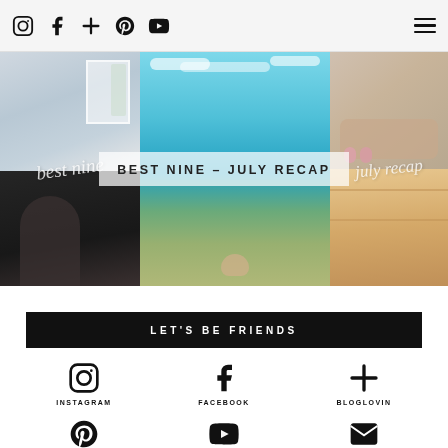Social nav icons: Instagram, Facebook, Bloglovin, Pinterest, YouTube | Hamburger menu
[Figure (photo): Blog post thumbnail collage: three-panel photo layout showing indoor scene (top-left), person at bottom-left, ocean/beach center, hands with pink nails on wooden surface (right). Text overlay reads BEST NINE – JULY RECAP with script lettering on sides.]
BEST NINE – JULY RECAP
LET'S BE FRIENDS
INSTAGRAM
FACEBOOK
BLOGLOVIN
PINTEREST
YOUTUBE